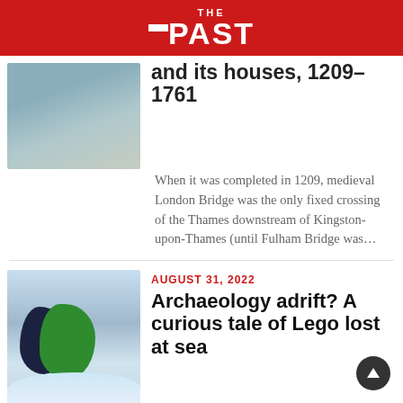THE PAST
and its houses, 1209-1761
When it was completed in 1209, medieval London Bridge was the only fixed crossing of the Thames downstream of Kingston-upon-Thames (until Fulham Bridge was…
AUGUST 31, 2022
Archaeology adrift? A curious tale of Lego lost at sea
Twenty-five years ago, a cargo of millions of pieces of Lego was washed overboard during a storm off Land's End.